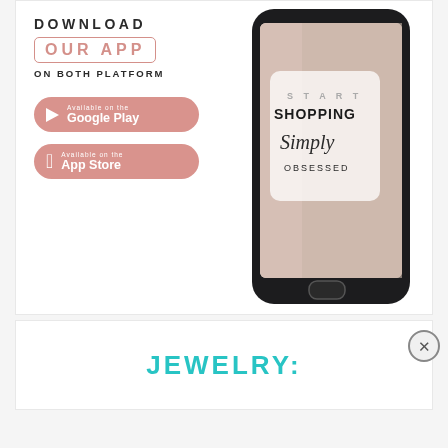[Figure (infographic): App download advertisement showing 'DOWNLOAD OUR APP ON BOTH PLATFORM' with Google Play and App Store buttons on the left, and a smartphone displaying a fashion shopping app on the right. The phone screen shows 'START SHOPPING Simply OBSESSED' with a photo of a woman in a floral outfit.]
JEWELRY: